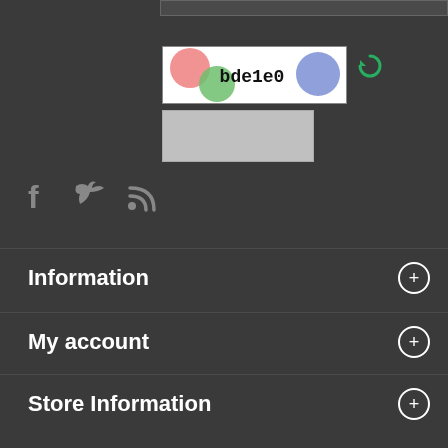[Figure (screenshot): CAPTCHA image showing colored circles (pink, green, blue) and the text 'bde1e0' in monospace font]
[captcha input box]
[Figure (infographic): Social media icons: Facebook (f), Twitter (bird), RSS feed]
Information
My account
Store Information